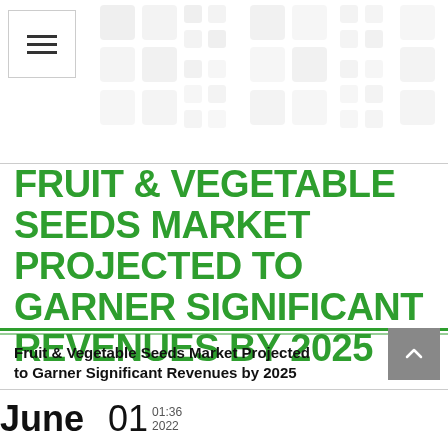[Figure (illustration): Grid/mosaic pattern of light grey squares in top-right header area, with hamburger menu icon button in top-left]
FRUIT & VEGETABLE SEEDS MARKET PROJECTED TO GARNER SIGNIFICANT REVENUES BY 2025
Fruit & Vegetable Seeds Market Projected to Garner Significant Revenues by 2025
June 01  01:36  2022